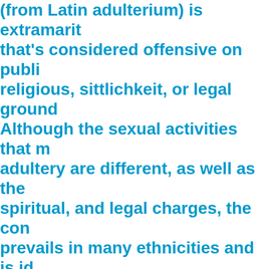(from Latin adulterium) is extramarital that's considered offensive on public religious, sittlichkeit, or legal ground. Although the sexual activities that m adultery are different, as well as the spiritual, and legal charges, the cond prevails in many ethnicities and is id in Christianity, https://datingsiteformen.com/dating-for-married-men/ Islam, and Judaism single function of sexual acts is gen plenty of to represent congress, and lengthy-time period sex relationship typically known as an affair. The dist among Adultery and Infidelity is that Adultery is mostly a sort of extramar intercourse and Infidelity is known a cheating, sexual climax, or being u